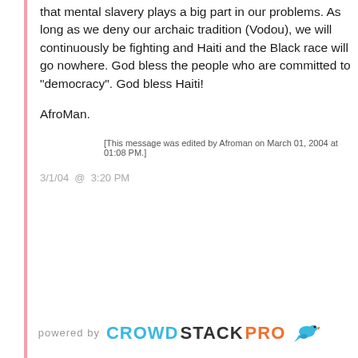that mental slavery plays a big part in our problems. As long as we deny our archaic tradition (Vodou), we will continuously be fighting and Haiti and the Black race will go nowhere. God bless the people who are committed to "democracy". God bless Haiti!
AfroMan.
[This message was edited by Afroman on March 01, 2004 at 01:08 PM.]
3/1/04  @  3:20 PM
powered by CROWDSTACKPRO